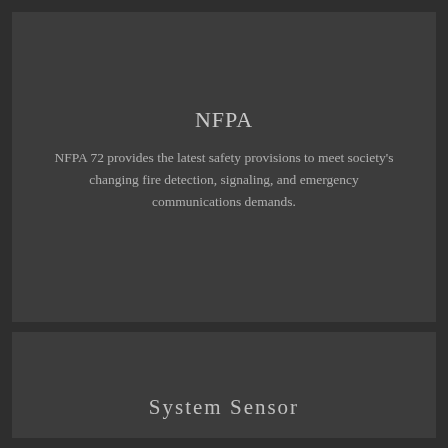NFPA
NFPA 72 provides the latest safety provisions to meet society's changing fire detection, signaling, and emergency communications demands.
System Sensor